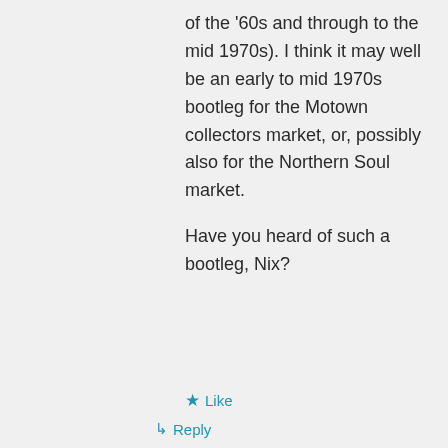of the '60s and through to the mid 1970s). I think it may well be an early to mid 1970s bootleg for the Motown collectors market, or, possibly also for the Northern Soul market.
Have you heard of such a bootleg, Nix?
★ Like
↳ Reply